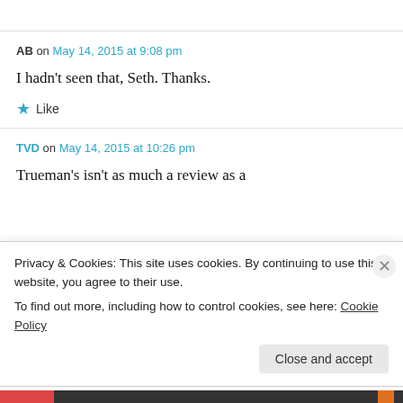AB on May 14, 2015 at 9:08 pm
I hadn't seen that, Seth. Thanks.
★ Like
TVD on May 14, 2015 at 10:26 pm
Trueman's isn't as much a review as a
Privacy & Cookies: This site uses cookies. By continuing to use this website, you agree to their use.
To find out more, including how to control cookies, see here: Cookie Policy
Close and accept